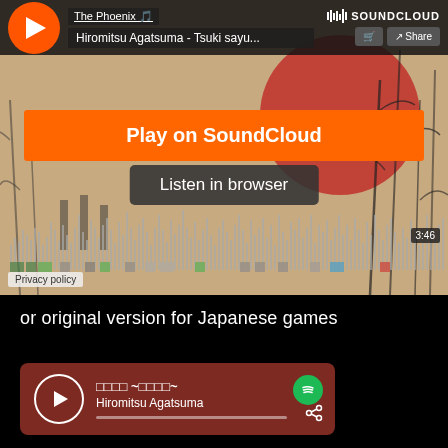[Figure (screenshot): SoundCloud embedded player showing 'The Phoenix' track by Hiromitsu Agatsuma - Tsuki sayu... with a Japanese ink painting artwork background. Player shows 'Play on SoundCloud' orange button and 'Listen in browser' dark button. Waveform displayed at bottom with timestamp 3:46. Privacy policy link visible.]
or original version for Japanese games
[Figure (screenshot): Spotify player embed with dark red background showing track title in Japanese characters followed by ~Japanese text~ and artist name Hiromitsu Agatsuma. Spotify logo visible top right, share icon bottom right, circular play button on left.]